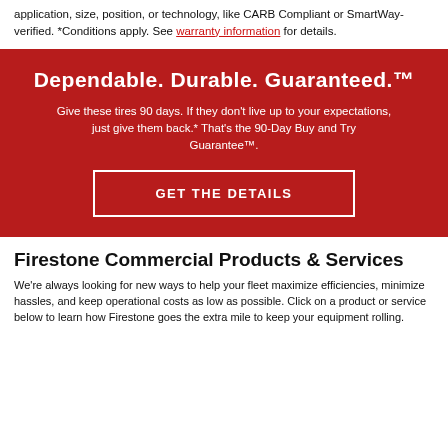application, size, position, or technology, like CARB Compliant or SmartWay-verified. *Conditions apply. See warranty information for details.
Dependable. Durable. Guaranteed.™
Give these tires 90 days. If they don't live up to your expectations, just give them back.* That's the 90-Day Buy and Try Guarantee™.
GET THE DETAILS
Firestone Commercial Products & Services
We're always looking for new ways to help your fleet maximize efficiencies, minimize hassles, and keep operational costs as low as possible. Click on a product or service below to learn how Firestone goes the extra mile to keep your equipment rolling.